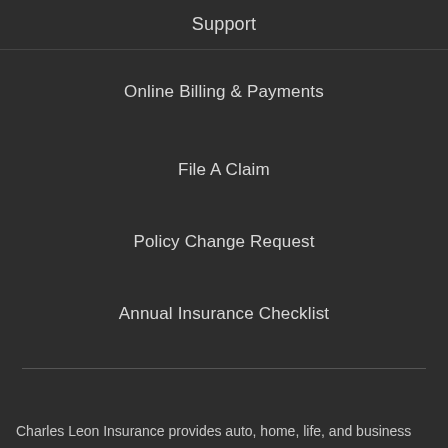Support
Online Billing & Payments
File A Claim
Policy Change Request
Annual Insurance Checklist
Charles Leon Insurance provides auto, home, life, and business